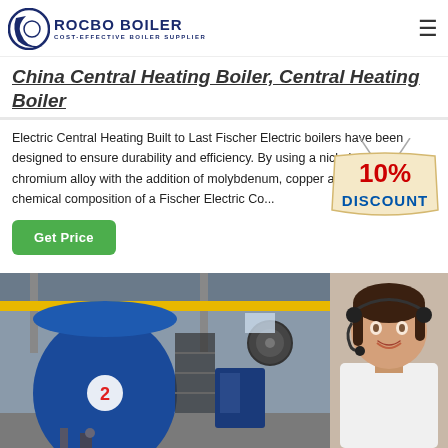[Figure (logo): Rocbo Boiler logo with crescent moon icon and text 'ROCBO BOILER - COST-EFFECTIVE BOILER SUPPLIER' in dark blue]
China Central Heating Boiler, Central Heating Boiler
Electric Central Heating Built to Last Fischer Electric boilers have been designed to ensure durability and efficiency. By using a nickel - iron - chromium alloy with the addition of molybdenum, copper and titanium - the chemical composition of a Fischer Electric Co...
[Figure (illustration): 10% DISCOUNT badge/sticker in red, blue and cream/yellow colors]
[Figure (photo): Industrial boiler factory floor with large blue cylindrical boiler and yellow crane structure]
[Figure (photo): Customer service representative woman wearing headset, smiling]